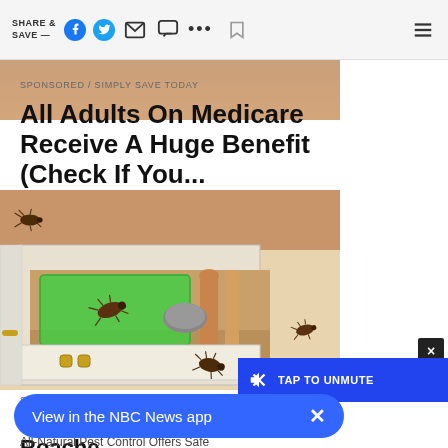SHARE & SAVE — [social icons] [menu]
SPONSORED / SIMPLY SAVE TODAY
All Adults On Medicare Receive A Huge Benefit (Check If You...
[Figure (illustration): Illustration of an open kitchen drawer with cockroaches crawling on it and inside, containing green cloth, wooden spoons and utensils.]
SPONSORED / BUGMD
Odd Trick Destroys Roaches...
All-Natural Pest Control Offers Safe
[Figure (screenshot): Blue TAP TO UNMUTE button overlay with speaker icon and X close button in dark background]
[Figure (screenshot): Blue rounded banner: View in the NBC News app with X close button]